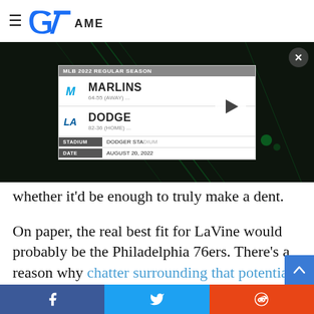Game 7
the general idea would be true for a LaVine-Luke Doncic pairing in Dallas. Offensively, there is a
[Figure (screenshot): Video player overlay showing MLB 2022 Regular Season game between Marlins and Dodgers at Dodger Stadium on August 20, 2022]
whether it'd be enough to truly make a dent.

On paper, the real best fit for LaVine would probably be the Philadelphia 76ers. There's a reason why chatter surrounding that potential trade is picking up. Whether Philly will actually pull the trigger on it remains to be seen, though.
Facebook | Twitter | Reddit